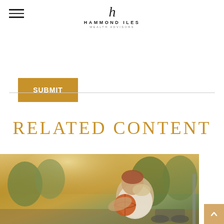Hammond Iles Wealth Advisors
SUBMIT
[Figure (photo): Man in a wheelchair holding a basketball outdoors in a park setting, warm golden light]
RELATED CONTENT